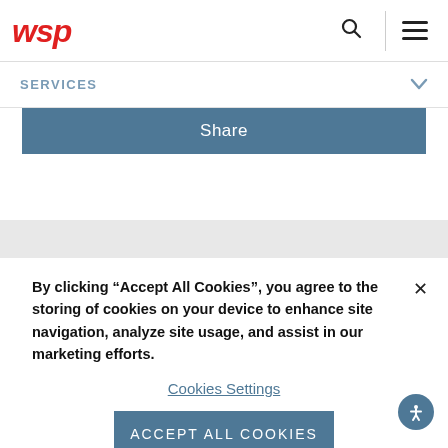wsp
SERVICES
Share
By clicking “Accept All Cookies”, you agree to the storing of cookies on your device to enhance site navigation, analyze site usage, and assist in our marketing efforts.
Cookies Settings
Accept All Cookies